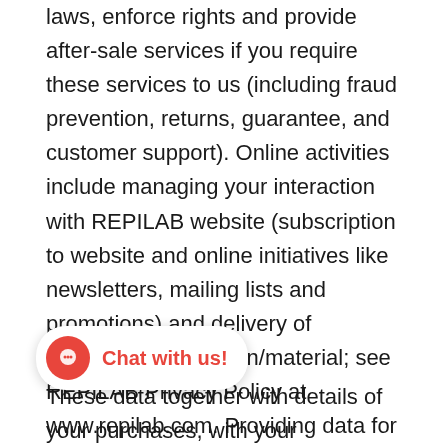laws, enforce rights and provide after-sale services if you require these services to us (including fraud prevention, returns, guarantee, and customer support). Online activities include managing your interaction with REPILAB website (subscription to website and online initiatives like newsletters, mailing lists and promotions) and delivery of requested information/material; see REPILAB Privacy Policy at www.repilab.com. Providing data for these purposes is necessary; if you do not provide data it would not be possible to provide the products or services that you request. Data may be used to update and correct the information previously collected on you.
Additional data processing purposes. With your consent, which is optional, REPILAB at points of sale and by paper and/or electronic forms or online may collect information on your preferences, habits, li...
[Figure (other): Chat with us! button overlay with red circular chat icon]
These data together with details of your purchases, with your